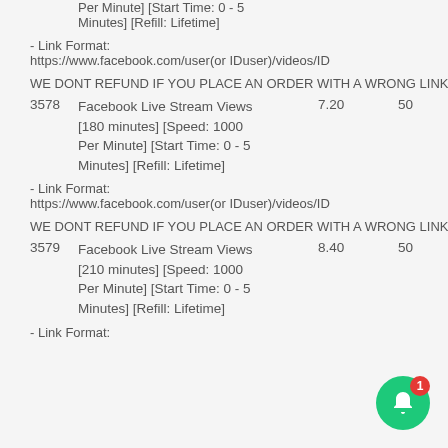Per Minute] [Start Time: 0 - 5 Minutes] [Refill: Lifetime]
- Link Format: https://www.facebook.com/user(or IDuser)/videos/ID
WE DONT REFUND IF YOU PLACE AN ORDER WITH A WRONG LINK FORM
3578  Facebook Live Stream Views [180 minutes] [Speed: 1000 Per Minute] [Start Time: 0 - 5 Minutes] [Refill: Lifetime]  7.20  50
- Link Format: https://www.facebook.com/user(or IDuser)/videos/ID
WE DONT REFUND IF YOU PLACE AN ORDER WITH A WRONG LINK FORM
3579  Facebook Live Stream Views [210 minutes] [Speed: 1000 Per Minute] [Start Time: 0 - 5 Minutes] [Refill: Lifetime]  8.40  50
- Link Format: